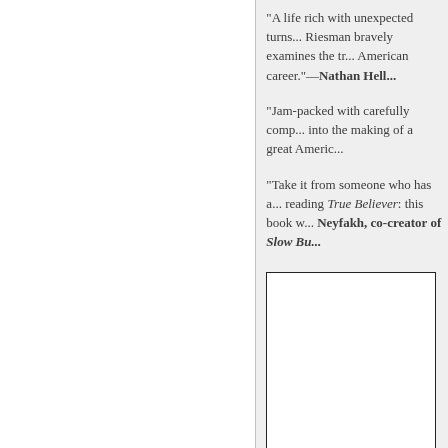"A life rich with unexpected turns... Riesman bravely examines the tr... American career."—Nathan Hell...
"Jam-packed with carefully comp... into the making of a great Americ...
"Take it from someone who has a... reading True Believer: this book w... Neyfakh, co-creator of Slow Bu...
[Figure (illustration): A white rectangular box with a black border, representing a book cover image area.]